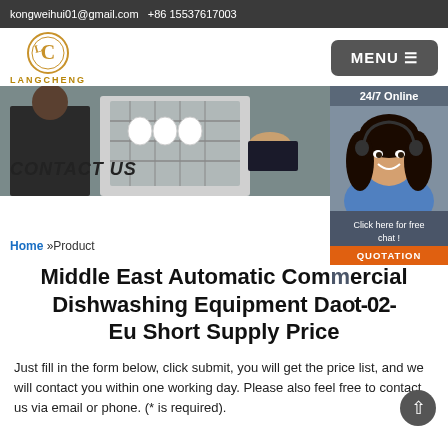kongweihui01@gmail.com  +86 15537617003
[Figure (logo): Langcheng logo: circular LC monogram in gold/brown with LANGCHENG text below]
[Figure (illustration): Hero banner showing dishwasher being loaded/unloaded with CONTACT US text overlay]
[Figure (photo): 24/7 Online side panel with customer service representative photo, 'Click here for free chat!' text, and QUOTATION button]
Home »Product
Middle East Automatic Commercial Dishwashing Equipment Daot-02-Eu Short Supply Price
Just fill in the form below, click submit, you will get the price list, and we will contact you within one working day. Please also feel free to contact us via email or phone. (* is required).